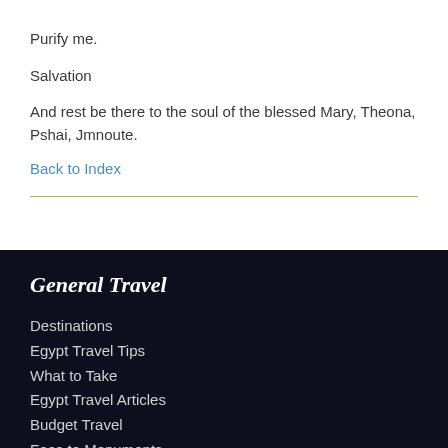Purify me.
Salvation
And rest be there to the soul of the blessed Mary, Theona, Pshai, Jmnoute.
Back to Index
General Travel
Destinations
Egypt Travel Tips
What to Take
Egypt Travel Articles
Budget Travel
Fees to Monuments